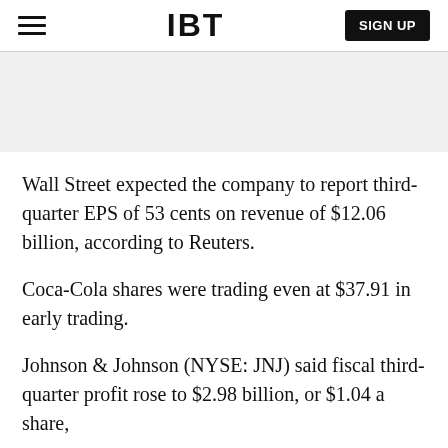IBT | SIGN UP
[Figure (other): Gray advertisement banner placeholder area]
Wall Street expected the company to report third-quarter EPS of 53 cents on revenue of $12.06 billion, according to Reuters.
Coca-Cola shares were trading even at $37.91 in early trading.
Johnson & Johnson (NYSE: JNJ) said fiscal third-quarter profit rose to $2.98 billion, or $1.04 a share,